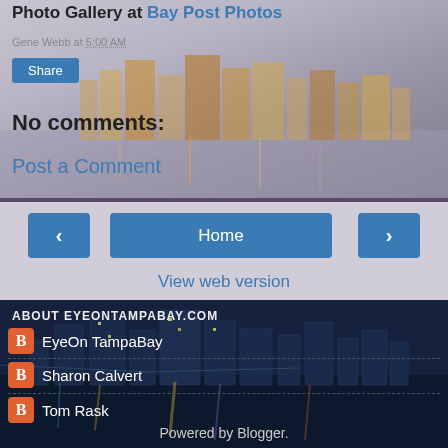Photo Gallery at Bay Post Photos
Gene Webb at 5:00 AM
Share
No comments:
Post a Comment
< Home >
View web version
ABOUT EYEONTAMPABAY.COM
EyeOn TampaBay
Sharon Calvert
Tom Rask
Powered by Blogger.